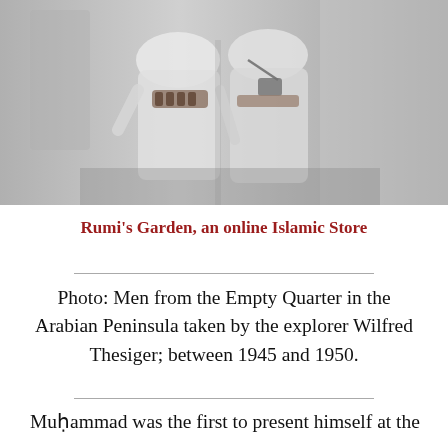[Figure (photo): Black and white photograph of men from the Empty Quarter in the Arabian Peninsula, wearing traditional robes and carrying equipment including ammunition belts and cameras, taken by explorer Wilfred Thesiger between 1945 and 1950.]
Rumi's Garden, an online Islamic Store
Photo: Men from the Empty Quarter in the Arabian Peninsula taken by the explorer Wilfred Thesiger; between 1945 and 1950.
Muḥammad was the first to present himself at the